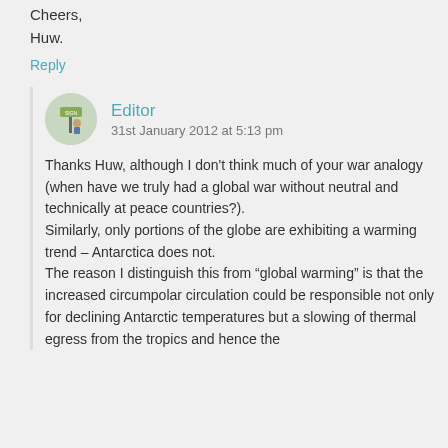Cheers,
Huw.
Reply
Editor
31st January 2012 at 5:13 pm
Thanks Huw, although I don't think much of your war analogy (when have we truly had a global war without neutral and technically at peace countries?).
Similarly, only portions of the globe are exhibiting a warming trend – Antarctica does not.
The reason I distinguish this from “global warming” is that the increased circumpolar circulation could be responsible not only for declining Antarctic temperatures but a slowing of thermal egress from the tropics and hence the